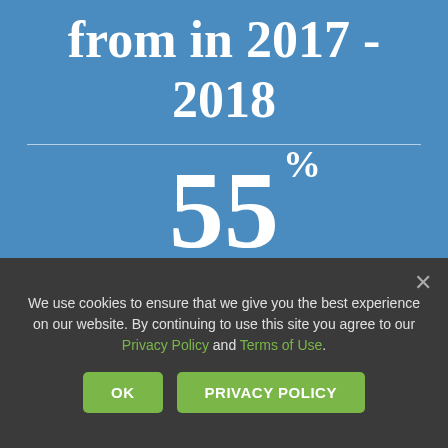from in 2017 - 2018
55% Individual Contributions
%
We use cookies to ensure that we give you the best experience on our website. By continuing to use this site you agree to our Privacy Policy and Terms of Use.
OK
PRIVACY POLICY